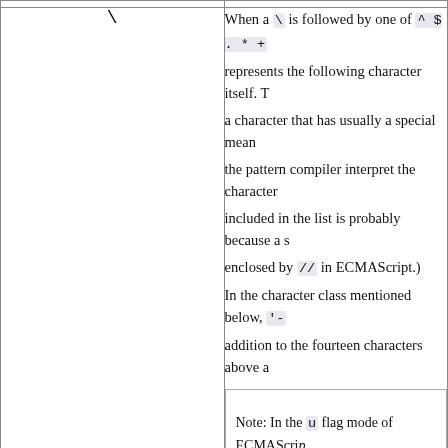| Symbol | Description |
| --- | --- |
| \ | When a \ is followed by one of ^ $ . * + ... represents the following character itself. This is a character that has usually a special meaning in the pattern compiler interpret the character... included in the list is probably because a s... enclosed by // in ECMAScript.) In the character class mentioned below, '-... addition to the fourteen characters above a... Note: In the u flag mode of ECMAScript, letter are reserved. You cannot expect that any special meaning, the sequence is treated as arbitrary combination of \ and something |
| Any character but | Represents that character itself |